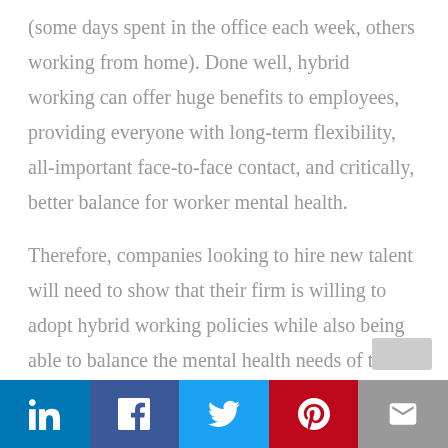(some days spent in the office each week, others working from home). Done well, hybrid working can offer huge benefits to employees, providing everyone with long-term flexibility, all-important face-to-face contact, and critically, better balance for worker mental health.

Therefore, companies looking to hire new talent will need to show that their firm is willing to adopt hybrid working policies while also being able to balance the mental health needs of their current employees. With a larger
LinkedIn | Facebook | Twitter | Pinterest | Email